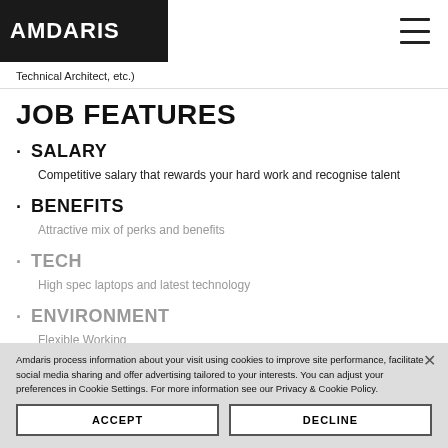AMDARIS
Technical Architect, etc.)
JOB FEATURES
SALARY
Competitive salary that rewards your hard work and recognise talent
BENEFITS
Attractive mix of perks and benefits
TECH
High spec laptops and latest technology
ENVIRONMENT
Flexible Working
Amdaris process information about your visit using cookies to improve site performance, facilitate social media sharing and offer advertising tailored to your interests. You can adjust your preferences in Cookie Settings. For more information see our Privacy & Cookie Policy.